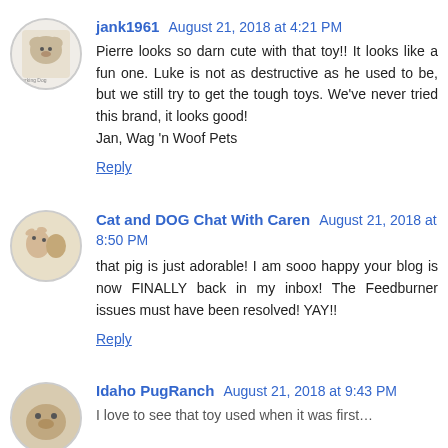jank1961 August 21, 2018 at 4:21 PM
Pierre looks so darn cute with that toy!! It looks like a fun one. Luke is not as destructive as he used to be, but we still try to get the tough toys. We've never tried this brand, it looks good!
Jan, Wag 'n Woof Pets
Reply
Cat and DOG Chat With Caren August 21, 2018 at 8:50 PM
that pig is just adorable! I am sooo happy your blog is now FINALLY back in my inbox! The Feedburner issues must have been resolved! YAY!!
Reply
Idaho PugRanch August 21, 2018 at 9:43 PM